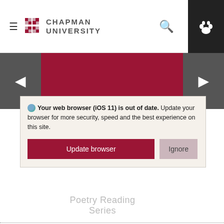[Figure (screenshot): Chapman University website navigation bar with hamburger menu, pink and white Chapman University logo, search icon, and dark paw print icon box on the right]
[Figure (screenshot): Website carousel banner showing dark red/maroon colored panels with left and right arrow navigation buttons, and partially visible text 'Poetry Reading Series']
Your web browser (iOS 11) is out of date. Update your browser for more security, speed and the best experience on this site.
Update browser
Ignore
Tabula Poetica
Join us for live-streaming of all our events for Fall 2020 on the Tabula Poetica YouTube channel!